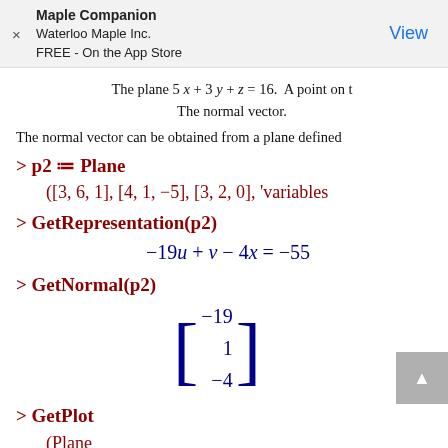Maple Companion
Waterloo Maple Inc.
FREE - On the App Store
View
The plane 5 x + 3 y + z = 16. A point on t
The normal vector.
The normal vector can be obtained from a plane defined